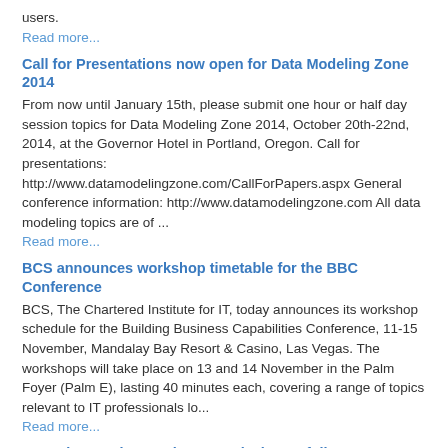users.
Read more...
Call for Presentations now open for Data Modeling Zone 2014
From now until January 15th, please submit one hour or half day session topics for Data Modeling Zone 2014, October 20th-22nd, 2014, at the Governor Hotel in Portland, Oregon. Call for presentations: http://www.datamodelingzone.com/CallForPapers.aspx General conference information: http://www.datamodelingzone.com All data modeling topics are of ...
Read more...
BCS announces workshop timetable for the BBC Conference
BCS, The Chartered Institute for IT, today announces its workshop schedule for the Building Business Capabilities Conference, 11-15 November, Mandalay Bay Resort & Casino, Las Vegas. The workshops will take place on 13 and 14 November in the Palm Foyer (Palm E), lasting 40 minutes each, covering a range of topics relevant to IT professionals lo...
Read more...
BCS Showcasing Business Analysis Portfolio
November 4th, 2013. BCS, The Chartered Institute for IT, will be exhibiting its full Business Analysis certification portfolio at the Building Business Capabilities Conference, 11-15 November, Mandalay Bay Resort & Casino, Las Vegas,